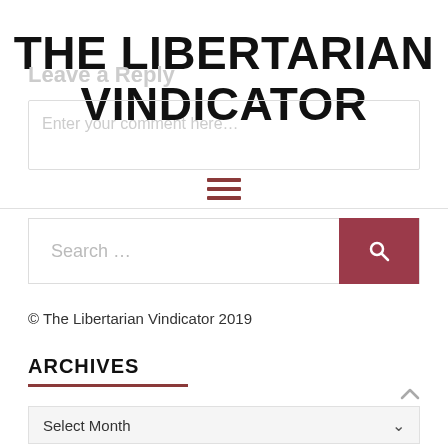THE LIBERTARIAN VINDICATOR
Leave a Reply
Enter your comment here...
[Figure (other): Hamburger menu icon with three horizontal dark red lines]
[Figure (other): Search bar with placeholder text 'Search ...' and a dark red search button with magnifying glass icon]
© The Libertarian Vindicator 2019
ARCHIVES
Select Month